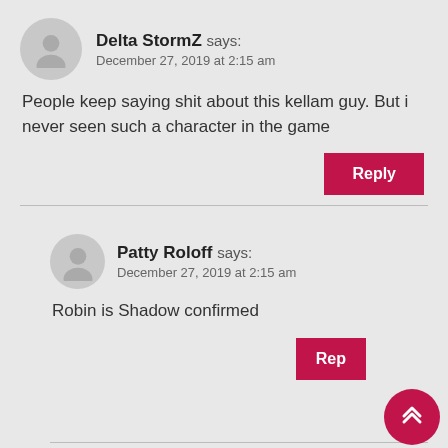Delta StormZ says: December 27, 2019 at 2:15 am
People keep saying shit about this kellam guy. But i never seen such a character in the game
Reply
Patty Roloff says: December 27, 2019 at 2:15 am
Robin is Shadow confirmed
Rep